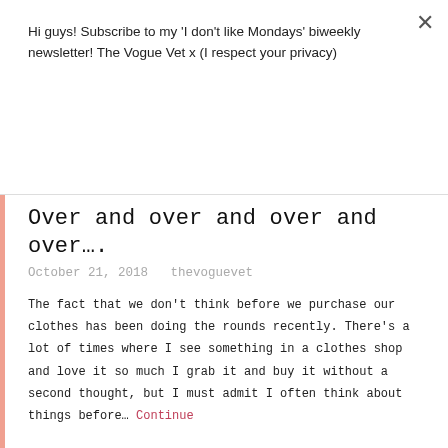Hi guys! Subscribe to my 'I don't like Mondays' biweekly newsletter! The Vogue Vet x (I respect your privacy)
Subscribe
Over and over and over and over….
October 21, 2018   thevoguevet
The fact that we don't think before we purchase our clothes has been doing the rounds recently. There's a lot of times where I see something in a clothes shop and love it so much I grab it and buy it without a second thought, but I must admit I often think about things before… Continue